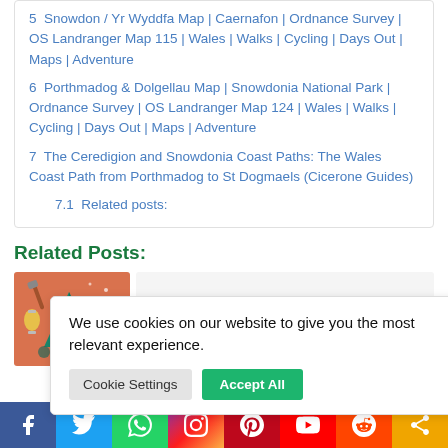5  Snowdon / Yr Wyddfa Map | Caernafon | Ordnance Survey | OS Landranger Map 115 | Wales | Walks | Cycling | Days Out | Maps | Adventure
6  Porthmadog & Dolgellau Map | Snowdonia National Park | Ordnance Survey | OS Landranger Map 124 | Wales | Walks | Cycling | Days Out | Maps | Adventure
7  The Ceredigion and Snowdonia Coast Paths: The Wales Coast Path from Porthmadog to St Dogmaels (Cicerone Guides)
7.1  Related posts:
Related Posts:
[Figure (illustration): Camping gear illustration with lantern, axe, tent, hat, and other outdoor equipment on orange/terracotta background]
We use cookies on our website to give you the most relevant experience.
Cookie Settings   Accept All